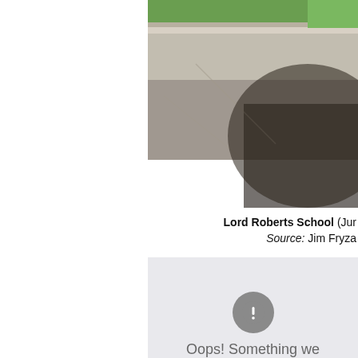[Figure (photo): Partial view of a school driveway/street with curb, sidewalk, and grass. Shadows cast across the pavement. Image appears cropped on the right side.]
Lord Roberts School (Jun  Source: Jim Fryza
[Figure (other): Map tile failed to load. Shows grey placeholder with an exclamation mark error icon and the text 'Oops! Something we...']